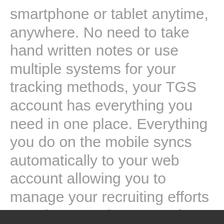smartphone or tablet anytime, anywhere. No need to take hand written notes or use multiple systems for your tracking methods, your TGS account has everything you need in one place. Everything you do on the mobile syncs automatically to your web account allowing you to manage your recruiting efforts anywhere anytime. Now that is powerful!